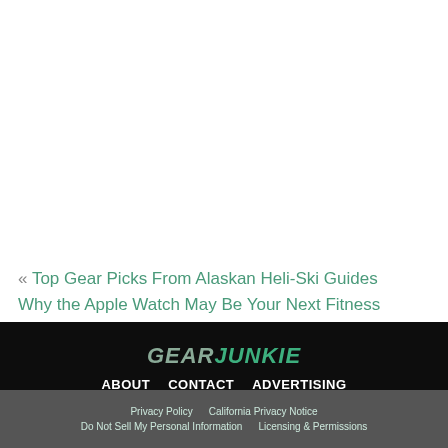« Top Gear Picks From Alaskan Heli-Ski Guides
Why the Apple Watch May Be Your Next Fitness Tracker »
[Figure (logo): GearJunkie logo in stylized italic font, 'GEAR' in gray/silver and 'JUNKIE' in green]
ABOUT   CONTACT   ADVERTISING
© COPYRIGHT 2022 GEARJUNKIE, ALL RIGHTS RESERVED
Privacy Policy   California Privacy Notice   Do Not Sell My Personal Information   Licensing & Permissions